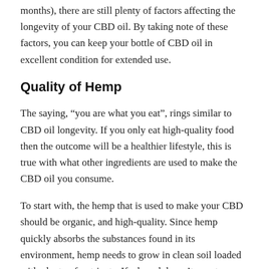months), there are still plenty of factors affecting the longevity of your CBD oil. By taking note of these factors, you can keep your bottle of CBD oil in excellent condition for extended use.
Quality of Hemp
The saying, “you are what you eat”, rings similar to CBD oil longevity. If you only eat high-quality food then the outcome will be a healthier lifestyle, this is true with what other ingredients are used to make the CBD oil you consume.
To start with, the hemp that is used to make your CBD should be organic, and high-quality. Since hemp quickly absorbs the substances found in its environment, hemp needs to grow in clean soil loaded with plenty of nutrients. If a brand doesn’t care to use high-quality hemp to make its products, this should be an indicator that you should look for a different brand to purchase from.